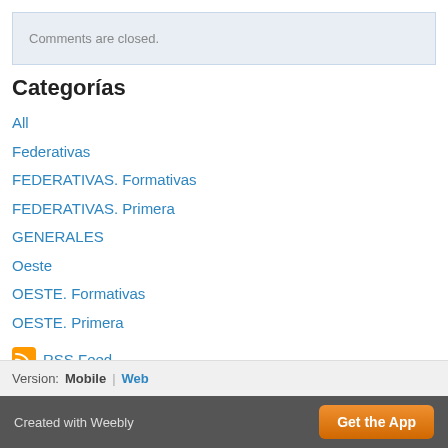Comments are closed.
Categorías
All
Federativas
FEDERATIVAS. Formativas
FEDERATIVAS. Primera
GENERALES
Oeste
OESTE. Formativas
OESTE. Primera
RSS Feed
Version: Mobile | Web
Created with Weebly  Get the App